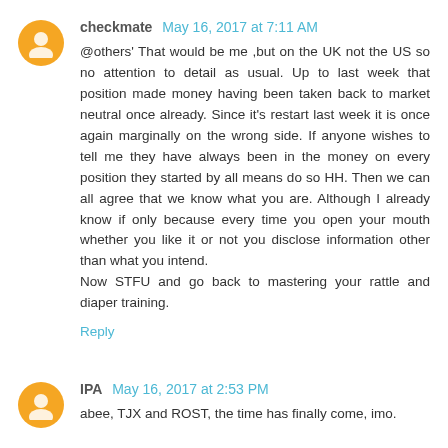checkmate May 16, 2017 at 7:11 AM
@others' That would be me ,but on the UK not the US so no attention to detail as usual. Up to last week that position made money having been taken back to market neutral once already. Since it's restart last week it is once again marginally on the wrong side. If anyone wishes to tell me they have always been in the money on every position they started by all means do so HH. Then we can all agree that we know what you are. Although I already know if only because every time you open your mouth whether you like it or not you disclose information other than what you intend.
Now STFU and go back to mastering your rattle and diaper training.
Reply
IPA May 16, 2017 at 2:53 PM
abee, TJX and ROST, the time has finally come, imo.